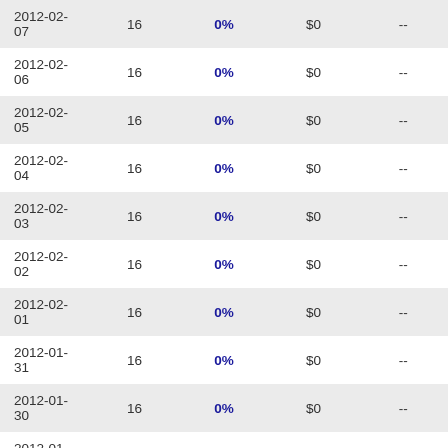| Date | Count | Pct | Amount | Other |
| --- | --- | --- | --- | --- |
| 2012-02-07 | 16 | 0% | $0 | -- |
| 2012-02-06 | 16 | 0% | $0 | -- |
| 2012-02-05 | 16 | 0% | $0 | -- |
| 2012-02-04 | 16 | 0% | $0 | -- |
| 2012-02-03 | 16 | 0% | $0 | -- |
| 2012-02-02 | 16 | 0% | $0 | -- |
| 2012-02-01 | 16 | 0% | $0 | -- |
| 2012-01-31 | 16 | 0% | $0 | -- |
| 2012-01-30 | 16 | 0% | $0 | -- |
| 2012-01-29 | 15 | 0% | $0 | -- |
| 2012-01-28 | 15 | 0% | $0 | -- |
| 2012-01-27 | 15 | 0% | $0 | -- |
| 2012-01-26 | 15 | 0% | $0 | -- |
| 2012-01-25 | 15 | 0% | $0 | -- |
| 2012-01-24 | 15 | 0% | $0 | -- |
| 2012-01-23 | 15 | 0% | $0 | -- |